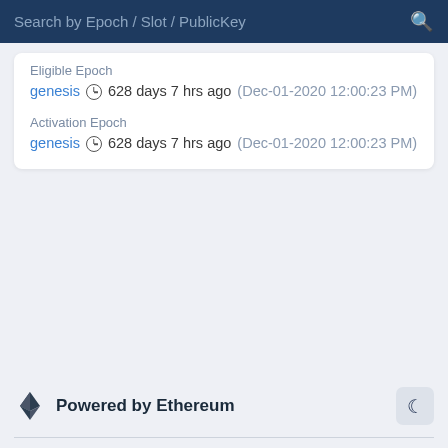Search by Epoch / Slot / PublicKey
Eligible Epoch
genesis  628 days 7 hrs ago (Dec-01-2020 12:00:23 PM)
Activation Epoch
genesis  628 days 7 hrs ago (Dec-01-2020 12:00:23 PM)
Powered by Ethereum
Beaconscan © 2022 (B)  |  Made with ♥ by Etherscan  Twitter  Contact Us  Terms